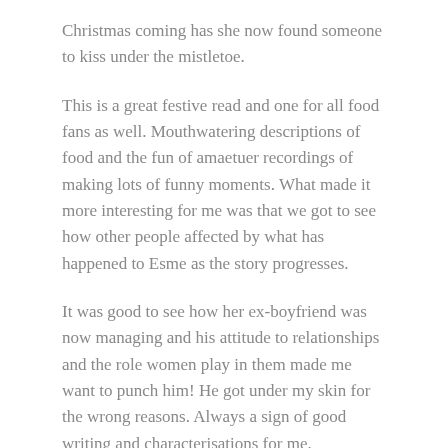Christmas coming has she now found someone to kiss under the mistletoe.
This is a great festive read and one for all food fans as well. Mouthwatering descriptions of food and the fun of amaetuer recordings of making lots of funny moments. What made it more interesting for me was that we got to see how other people affected by what has happened to Esme as the story progresses.
It was good to see how her ex-boyfriend was now managing and his attitude to relationships and the role women play in them made me want to punch him! He got under my skin for the wrong reasons. Always a sign of good writing and characterisations for me.
This was a book when good overcame bad and those that needed to get their comeuppance did and everyone lived